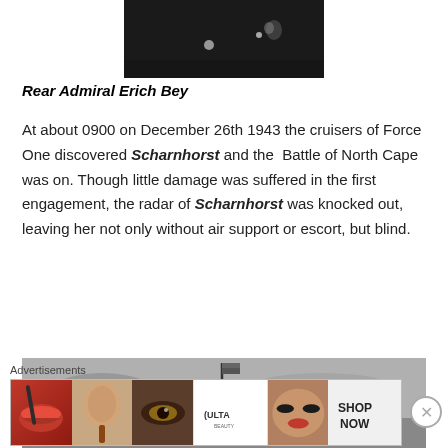[Figure (photo): Dark grainy photograph of Rear Admiral Erich Bey, showing two small figures or lights against a dark background]
Rear Admiral Erich Bey
At about 0900 on December 26th 1943 the cruisers of Force One discovered Scharnhorst and the Battle of North Cape was on. Though little damage was suffered in the first engagement, the radar of Scharnhorst was knocked out, leaving her not only without air support or escort, but blind.
[Figure (photo): Black and white photograph of a warship's mast and superstructure against a cloudy sky, with a flag flying from the mast]
Advertisements
[Figure (photo): Advertisement banner for ULTA beauty showing makeup/cosmetics imagery with 'SHOP NOW' text]